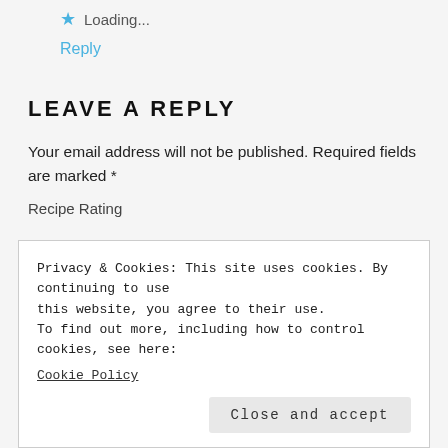★ Loading...
Reply
LEAVE A REPLY
Your email address will not be published. Required fields are marked *
Recipe Rating
Privacy & Cookies: This site uses cookies. By continuing to use this website, you agree to their use.
To find out more, including how to control cookies, see here:
Cookie Policy
Close and accept